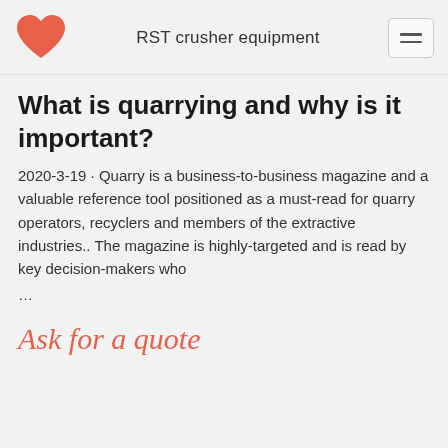RST crusher equipment
What is quarrying and why is it important?
2020-3-19 · Quarry is a business-to-business magazine and a valuable reference tool positioned as a must-read for quarry operators, recyclers and members of the extractive industries.. The magazine is highly-targeted and is read by key decision-makers who …
Ask for a quote